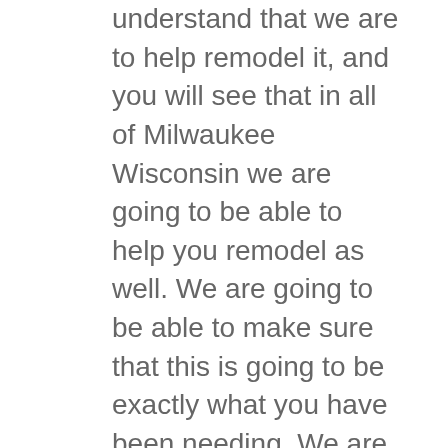understand that we are to help remodel it, and you will see that in all of Milwaukee Wisconsin we are going to be able to help you remodel as well. We are going to be able to make sure that this is going to be exactly what you have been needing. We are in be able to show you that we have the highest rated basement remodeling, kitchen remodeling or bathroom remodeling, and in all of Wisconsin we are going to be able to have those highest rated services yet. We are to be able to make sure that this is going to be exactly what you have been needing, and that you are never going to be disappointed by what we provide.
We at Back To Basics are then going to be able to show you that we have the basement